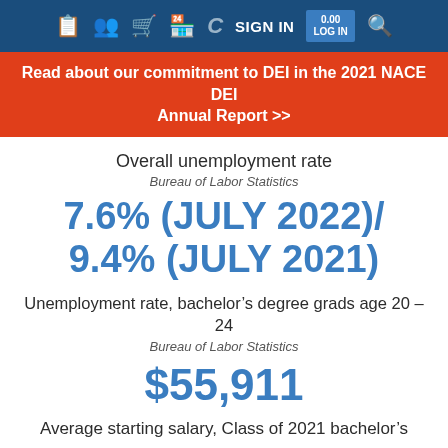SIGN IN
Read about our commitment to DEI in the 2021 NACE DEI Annual Report >>
Overall unemployment rate
Bureau of Labor Statistics
7.6% (JULY 2022)/ 9.4% (JULY 2021)
Unemployment rate, bachelor’s degree grads age 20 – 24
Bureau of Labor Statistics
$55,911
Average starting salary, Class of 2021 bachelor’s